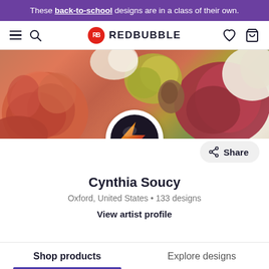These back-to-school designs are in a class of their own.
[Figure (screenshot): Redbubble navigation bar with hamburger menu, search icon, Redbubble logo (red circle with RB letters), heart icon, and cart icon]
[Figure (photo): Hero banner image showing orange and red roses with yellow-green flowers on a light background]
[Figure (logo): Artist avatar: colorful arrow/lightning bolt logo on dark background in a circular frame]
Share
Cynthia Soucy
Oxford, United States • 133 designs
View artist profile
Shop products	Explore designs